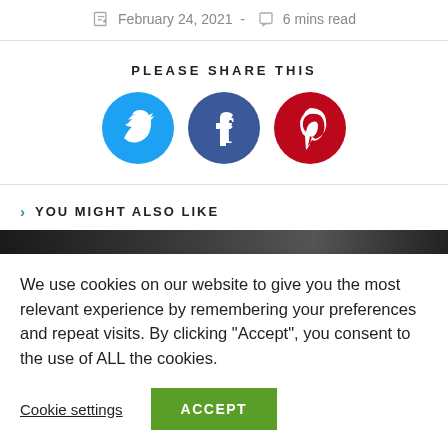February 24, 2021 - 6 mins read
PLEASE SHARE THIS
[Figure (infographic): Social share icons: Twitter (blue circle), Facebook (dark blue circle), Pinterest (red circle)]
YOU MIGHT ALSO LIKE
[Figure (photo): Dark partial image strip for 'You might also like' section]
We use cookies on our website to give you the most relevant experience by remembering your preferences and repeat visits. By clicking "Accept", you consent to the use of ALL the cookies.
Cookie settings | ACCEPT